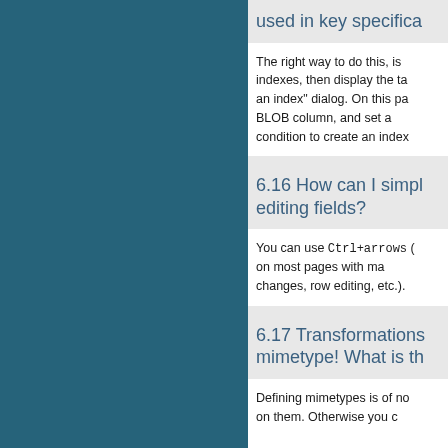used in key specifica...
The right way to do this, is... indexes, then display the ta... an index" dialog. On this pa... BLOB column, and set a... condition to create an index...
6.16 How can I simpl... editing fields?
You can use Ctrl+arrows (C... on most pages with ma... changes, row editing, etc.).
6.17 Transformations... mimetype! What is th...
Defining mimetypes is of no... on them. Otherwise you c...